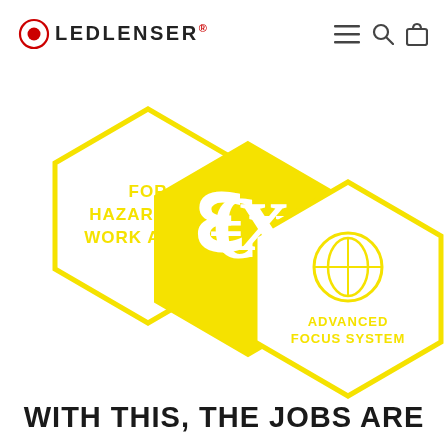LEDLENSER
[Figure (infographic): Three overlapping hexagons: left hexagon (white with yellow border) contains text 'FOR HAZARDOUS WORK AREAS' in yellow; center hexagon (solid yellow) contains the ATEX/Ex certification symbol in white; right hexagon (white with yellow border) contains a lens/optic icon in yellow and text 'ADVANCED FOCUS SYSTEM' in yellow.]
WITH THIS, THE JOBS ARE